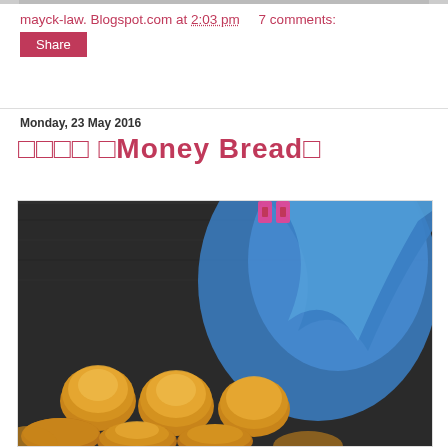[Figure (photo): Top portion of a food photo, cropped at top of page]
mayck-law. Blogspot.com at 2:03 pm    7 comments:
Share
Monday, 23 May 2016
□□□□ □Money Bread□
[Figure (photo): Photo of golden brown bread rolls (money bread) arranged together on a dark surface with a blue cloth/ribbon and pink clips in the background]